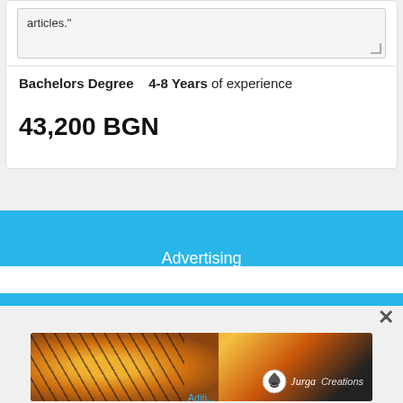articles."
Bachelors Degree    4-8 Years of experience
43,200 BGN
Advertising
© www.averagesalarysurvey.com
[Figure (photo): Advertisement image showing artistic painting with bee/sun motif, 'Go To Etsy For More' badge, and Jurga Creations logo]